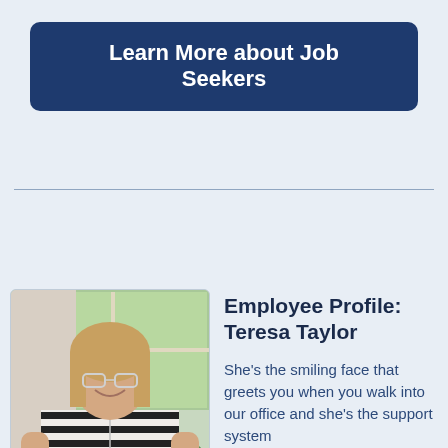Learn More about Job Seekers
[Figure (photo): Photo of Teresa Taylor, a smiling woman with blonde hair, glasses, wearing a black and white striped top and a long necklace, standing in front of a window with green trees and a houseplant visible.]
Employee Profile: Teresa Taylor
She's the smiling face that greets you when you walk into our office and she's the support system